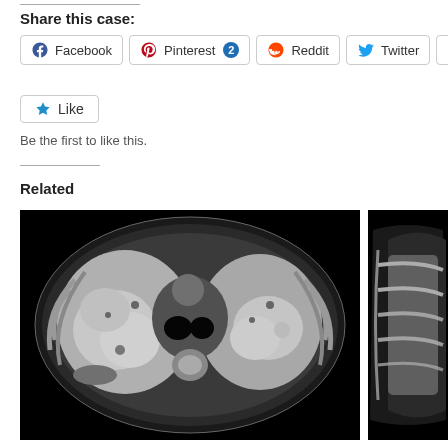Share this case:
[Figure (screenshot): Social share buttons: Facebook, Pinterest 2, Reddit, Twitter, Email]
[Figure (screenshot): Like button with star icon]
Be the first to like this.
Related
[Figure (photo): CT scan of chest showing lung cross-section with bilateral lung consolidations on black background]
[Figure (photo): Partial CT scan image on right side, partially cropped]